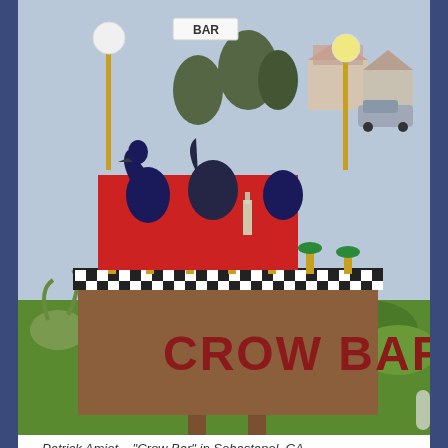[Figure (photo): Outdoor photo of a whimsical folk-art bar installation called 'CROW BAR' by Patrick Amiot in Sebastapol, CA. A rustic wooden bar structure with a checkered black-and-white border on the counter, decorated with colorful crow sculptures, stools, and a globe lamp. The front panel reads 'CROW BAR' in red letters. Background shows suburban houses, cars, and greenery.]
Patrick Amiot – "Crow Bar" in Sebastapol, CA
It has been a whirlwind.  What made it more so was knowing (in hindsight) that while the coronavirus was hitting the U.S. in Washington and California back in January and February while I was traveling out there with my daughter and her three children.  Many of the places we visited, including massive...